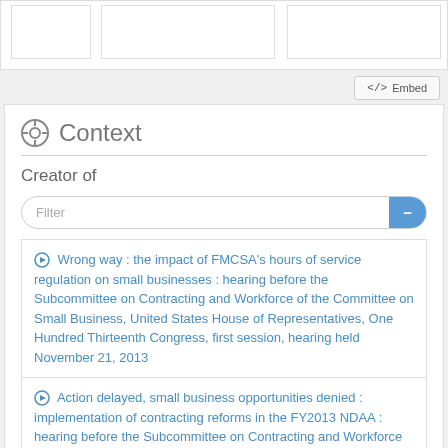[Figure (screenshot): Top bar with partial UI elements including blue buttons, on light grey background]
</> Embed
Context
Creator of
Filter
Wrong way : the impact of FMCSA's hours of service regulation on small businesses : hearing before the Subcommittee on Contracting and Workforce of the Committee on Small Business, United States House of Representatives, One Hundred Thirteenth Congress, first session, hearing held November 21, 2013
Action delayed, small business opportunities denied : implementation of contracting reforms in the FY2013 NDAA : hearing before the Subcommittee on Contracting and Workforce of the Committee on Small Business,